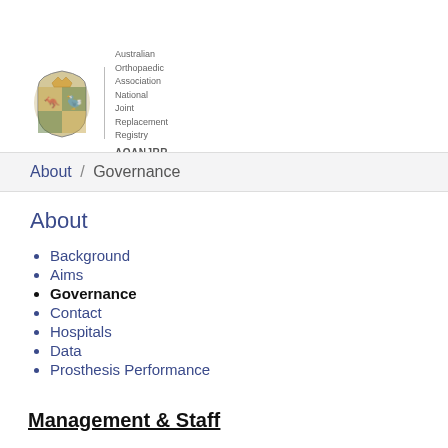[Figure (logo): AOANJRR logo — Australian Orthopaedic Association National Joint Replacement Registry crest with kangaroo and emu, with text to the right]
About / Governance
About
Background
Aims
Governance
Contact
Hospitals
Data
Prosthesis Performance
Management & Staff